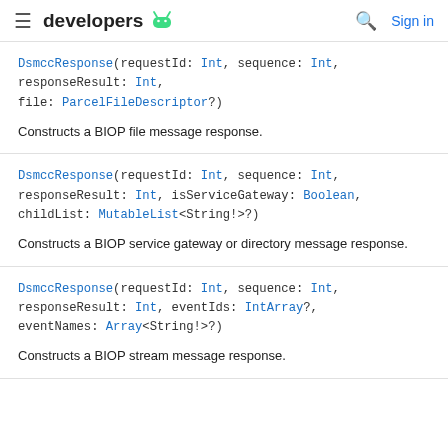developers
DsmccResponse(requestId: Int, sequence: Int, responseResult: Int,
file: ParcelFileDescriptor?)
Constructs a BIOP file message response.
DsmccResponse(requestId: Int, sequence: Int, responseResult: Int, isServiceGateway: Boolean,
childList: MutableList<String!>?)
Constructs a BIOP service gateway or directory message response.
DsmccResponse(requestId: Int, sequence: Int, responseResult: Int, eventIds: IntArray?,
eventNames: Array<String!>?)
Constructs a BIOP stream message response.